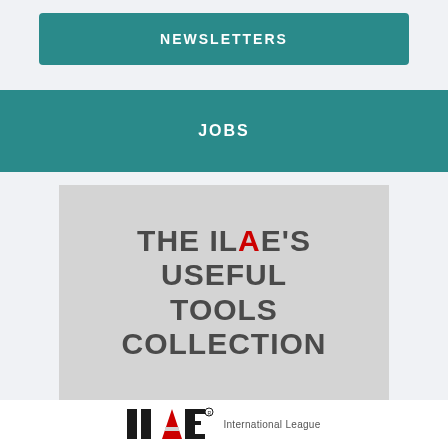NEWSLETTERS
JOBS
[Figure (logo): THE ILAE'S USEFUL TOOLS COLLECTION banner image with ILAE text where A is in red]
[Figure (logo): ILAE International League logo at bottom]